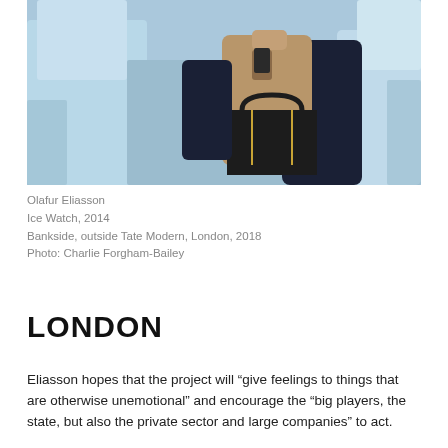[Figure (photo): A person wearing a tan/beige puffer jacket and dark jacket next to them, holding a phone, standing next to large blue ice blocks. The person carries a large black tote bag with gold zipper accents. The background shows blue-white glacial ice.]
Olafur Eliasson
Ice Watch, 2014
Bankside, outside Tate Modern, London, 2018
Photo: Charlie Forgham-Bailey
LONDON
Eliasson hopes that the project will “give feelings to things that are otherwise unemotional” and encourage the “big players, the state, but also the private sector and large companies” to act.